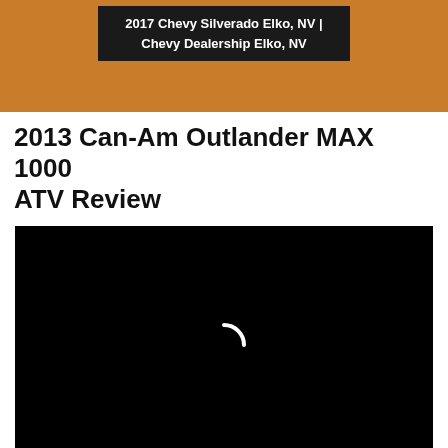2017 Chevy Silverado Elko, NV | Chevy Dealership Elko, NV
2013 Can-Am Outlander MAX 1000 ATV Review
[Figure (screenshot): Black video player loading screen with a white spinning arc indicator in the center]
Uploaded by nuRyders TV on July 22, 2021 at 7:12 pm